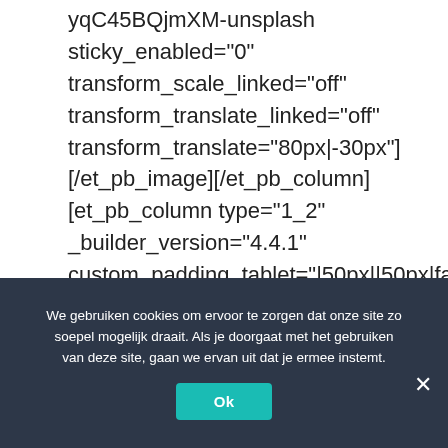yqC45BQjmXM-unsplash sticky_enabled="0" transform_scale_linked="off" transform_translate_linked="off" transform_translate="80px|-30px"] [/et_pb_image][/et_pb_column] [et_pb_column type="1_2" _builder_version="4.4.1" custom_padding_tablet="|50px||50px|false|true"
We gebruiken cookies om ervoor te zorgen dat onze site zo soepel mogelijk draait. Als je doorgaat met het gebruiken van deze site, gaan we ervan uit dat je ermee instemt.